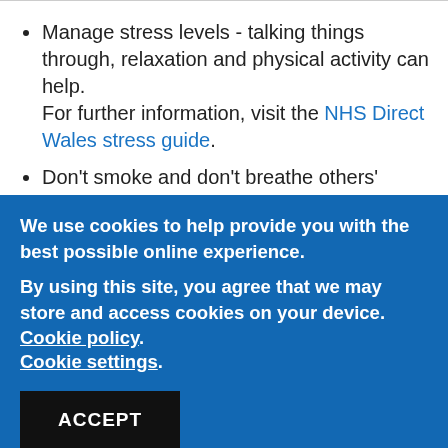Manage stress levels - talking things through, relaxation and physical activity can help. For further information, visit the NHS Direct Wales stress guide.
Don't smoke and don't breathe others' tobacco
We use cookies to help provide you with the best possible online experience. By using this site, you agree that we may store and access cookies on your device. Cookie policy. Cookie settings.